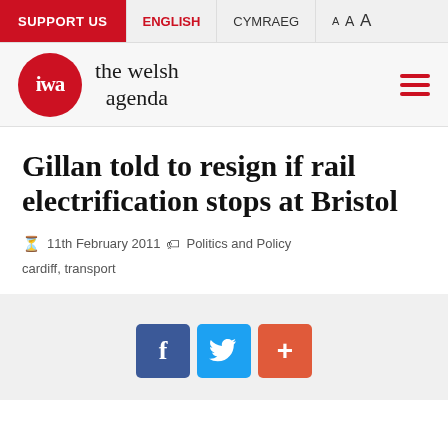SUPPORT US  ENGLISH  CYMRAEG  A A A
[Figure (logo): IWA - the welsh agenda logo with red circle and hamburger menu]
Gillan told to resign if rail electrification stops at Bristol
11th February 2011  Politics and Policy
cardiff, transport
[Figure (infographic): Social share buttons: Facebook (f), Twitter (bird), and plus (+) buttons]